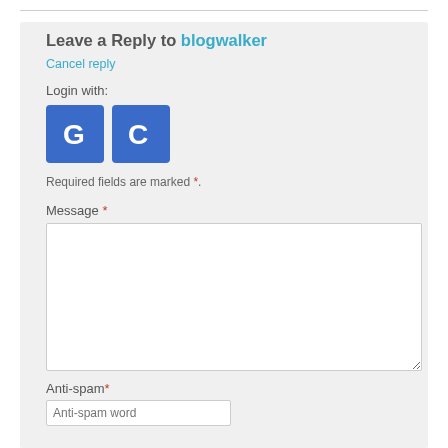Leave a Reply to blogwalker
Cancel reply
Login with:
[Figure (illustration): Two blue square buttons with white letters G and C, representing Google and another login provider]
Required fields are marked *.
Message *
Anti-spam*
Anti-spam word